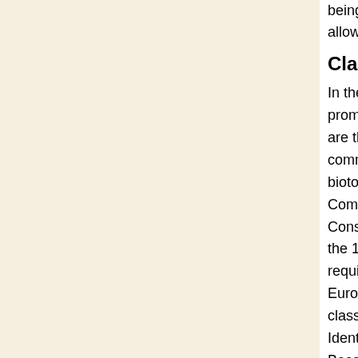being mentioned only as one of the dist... allows us to distinguish and classify the...
Classification and conservation
In the late 1980-1990s, with many Europ... promulgated, law has become a driving... are the most widely used aspects of biotope... commonly used in Europe, for example... biotope classification, the Wadden Sea... Commission's Baltic Sea classification a... Conservation Review. The EU CORINE... the 1980s. It was used to derive the "hab..." requirements of the Habitats Directive... European Environment Agency, a ration... classification is being proposed: EUNIS... Identification System) used in coastal zo... Because of significant shortcomings in i... classification remains very broad and al... marine biotope classification was publis... Conservation Committee (JNCC) in th...